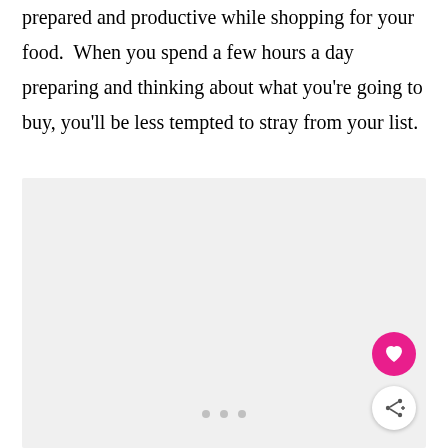prepared and productive while shopping for your food.  When you spend a few hours a day preparing and thinking about what you're going to buy, you'll be less tempted to stray from your list.
[Figure (photo): A large light gray placeholder image area with navigation dots at the bottom center and UI buttons (heart and share) at the bottom right.]